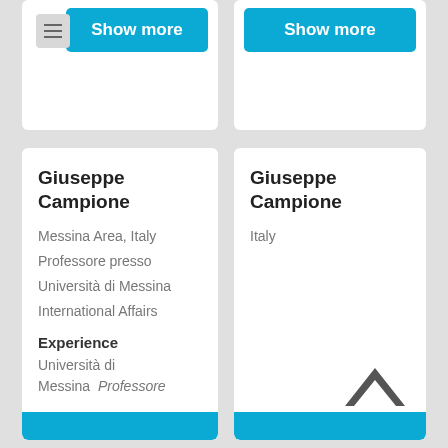[Figure (screenshot): Show more button (left card top)]
[Figure (screenshot): Show more button (right card top)]
Giuseppe Campione
Messina Area, Italy
Professore presso
Università di Messina
International Affairs
Experience
Università di Messina   Professore
Giuseppe Campione
Italy
[Figure (illustration): Upward chevron/caret icon in grey]